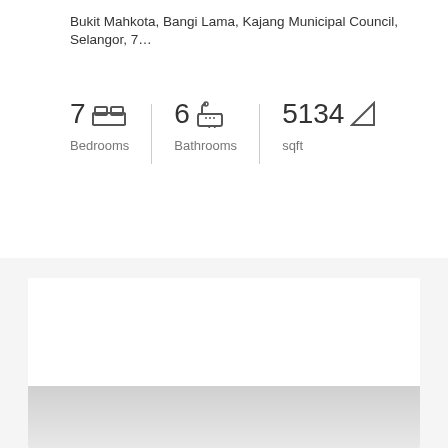Bukit Mahkota, Bangi Lama, Kajang Municipal Council, Selangor, 7…
7 Bedrooms   6 Bathrooms   5134 sqft
FOR SALE
HOT OFFER